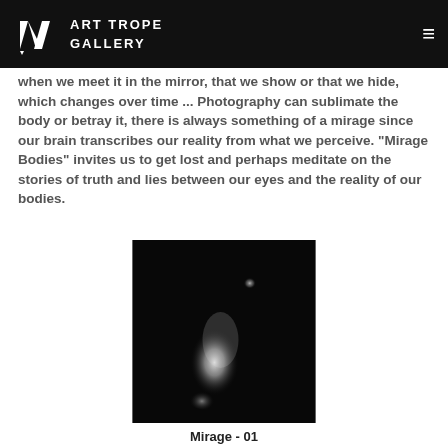ART TROPE GALLERY
when we meet it in the mirror, that we show or that we hide, which changes over time ... Photography can sublimate the body or betray it, there is always something of a mirage since our brain transcribes our reality from what we perceive. "Mirage Bodies" invites us to get lost and perhaps meditate on the stories of truth and lies between our eyes and the reality of our bodies.
[Figure (photo): Black and white grainy photograph of an abstract blurry human body silhouette glowing white against a black background, suggesting a mirage or ghost-like figure.]
Mirage - 01